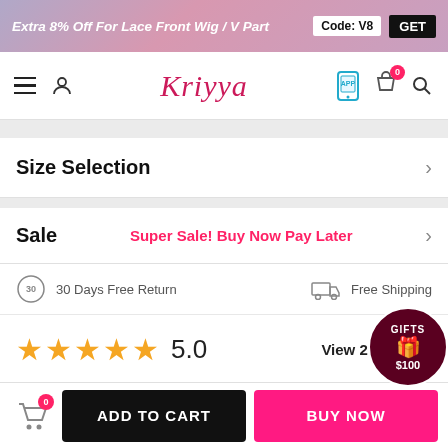Extra 8% Off For Lace Front Wig / V Part  Code: V8  GET
[Figure (screenshot): Kriyya e-commerce website navigation bar with hamburger menu, user icon, Kriyya logo, phone/app icon, shopping bag with 0 badge, and search icon]
Size Selection
Sale  Super Sale! Buy Now Pay Later
30 Days Free Return   Free Shipping
★★★★★  5.0   View 2 Reviews
ADD TO CART   BUY NOW